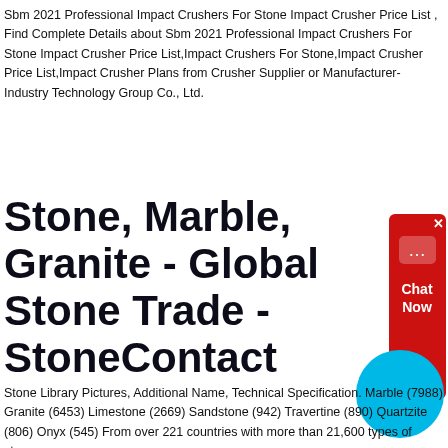Sbm 2021 Professional Impact Crushers For Stone Impact Crusher Price List , Find Complete Details about Sbm 2021 Professional Impact Crushers For Stone Impact Crusher Price List,Impact Crushers For Stone,Impact Crusher Price List,Impact Crusher Plans from Crusher Supplier or Manufacturer- Industry Technology Group Co., Ltd.
Stone, Marble, Granite - Global Stone Trade - StoneContact
[Figure (infographic): Red chat widget with speech bubble icon and 'Chat Now' text, plus a cyan circle decorative element]
Stone Library Pictures, Additional Name, Technical Specification. Marble (7988) Granite (6453) Limestone (2669) Sandstone (942) Travertine (890) Quartzite (806) Onyx (545) From over 221 countries with more than 21,600 types of stone.